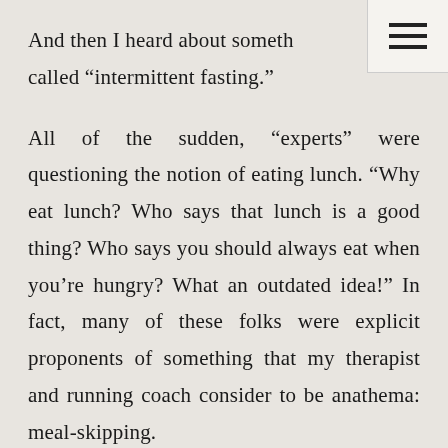And then I heard about something called “intermittent fasting.”
All of the sudden, “experts” were questioning the notion of eating lunch. “Why eat lunch? Who says that lunch is a good thing? Who says you should always eat when you’re hungry? What an outdated idea!” In fact, many of these folks were explicit proponents of something that my therapist and running coach consider to be anathema: meal-skipping.
So, after a few weeks of experimenting with lunch-eating, I resumed the old habit of going from breakfast to dinner with no calories. After